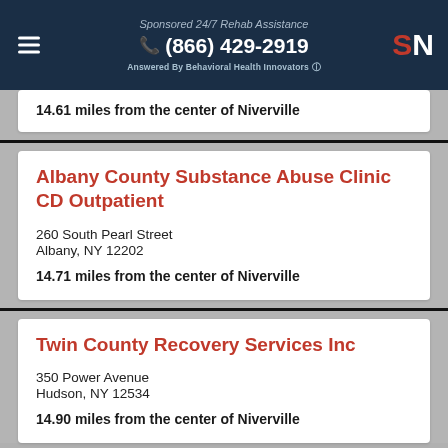Sponsored 24/7 Rehab Assistance
(866) 429-2919
Answered By Behavioral Health Innovators
14.61 miles from the center of Niverville
Albany County Substance Abuse Clinic CD Outpatient
260 South Pearl Street
Albany, NY 12202
14.71 miles from the center of Niverville
Twin County Recovery Services Inc
350 Power Avenue
Hudson, NY 12534
14.90 miles from the center of Niverville